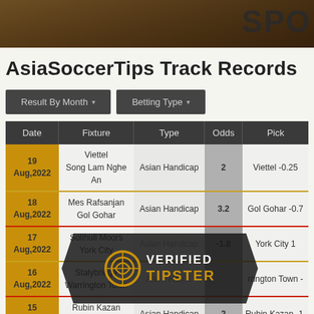SPO
AsiaSoccerTips Track Records
Result By Month ▾   Betting Type ▾
| Date | Fixture | Type | Odds | Pick |
| --- | --- | --- | --- | --- |
| 19 Aug,2022 | Viettel
Song Lam Nghe An | Asian Handicap | 2 | Viettel -0.25 |
| 18 Aug,2022 | Mes Rafsanjan
Gol Gohar | Asian Handicap | 3.2 | Gol Gohar -0.7 |
| 17 Aug,2022 | Solihull Moors
York City | Asian Handicap | -1.8 | York City 1 |
| 16 Aug,2022 | Stalybridge
Warrington Town | Asian Handicap |  | Warrington Town - |
| 15 Aug,2022 | Rubin Kazan
PFC Kuban | Asian Handicap | 2 | Rubin Kazan -1. |
[Figure (logo): Verified Tipster watermark logo overlaid on the table]